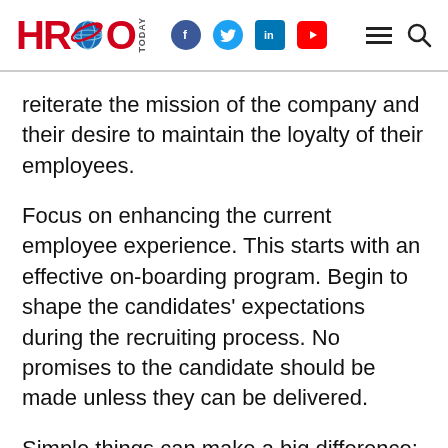HRO Today
reiterate the mission of the company and their desire to maintain the loyalty of their employees.
Focus on enhancing the current employee experience. This starts with an effective on-boarding program. Begin to shape the candidates' expectations during the recruiting process. No promises to the candidate should be made unless they can be delivered.
Simple things can make a big difference: